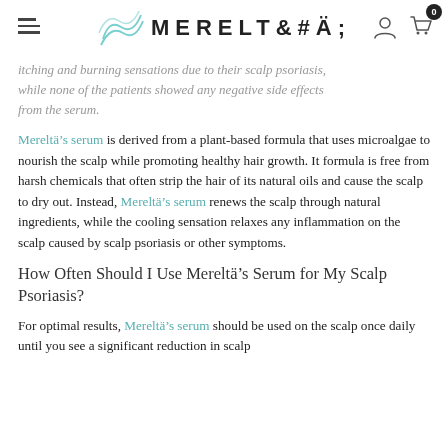MERELTÄ (logo with wave graphic, menu icon, user icon, cart icon with badge 0)
itching and burning sensations due to their scalp psoriasis, while none of the patients showed any negative side effects from the serum.
Mereltä's serum is derived from a plant-based formula that uses microalgae to nourish the scalp while promoting healthy hair growth. It formula is free from harsh chemicals that often strip the hair of its natural oils and cause the scalp to dry out. Instead, Mereltä's serum renews the scalp through natural ingredients, while the cooling sensation relaxes any inflammation on the scalp caused by scalp psoriasis or other symptoms.
How Often Should I Use Mereltä's Serum for My Scalp Psoriasis?
For optimal results, Mereltä's serum should be used on the scalp once daily until you see a significant reduction in scalp